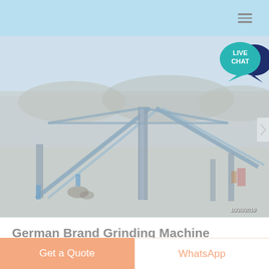[Figure (photo): Industrial grinding/crushing plant with blue steel conveyor belts and frame structures under hazy sky. Timestamp 10/20/2019 visible in lower right corner.]
German Brand Grinding Machine
devkrупсентерприсе.in
Get a Quote
WhatsApp